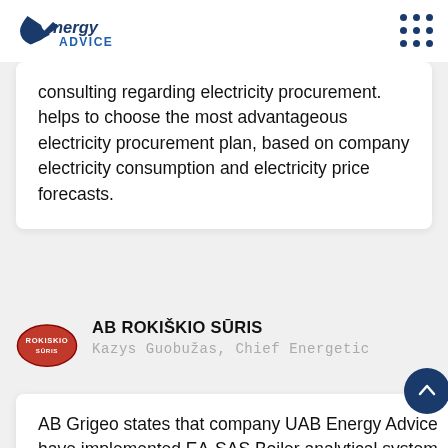Energy Advice
consulting regarding electricity procurement. helps to choose the most advantageous electricity procurement plan, based on company electricity consumption and electricity price forecasts.
AB ROKIŠKIO SŪRIS
Kazys Guobužas, Chief Energetic
AB Grigeo states that company UAB Energy Advice have implemented EA-SAS Boiler analytical system for 18 MW Biomass Boiler